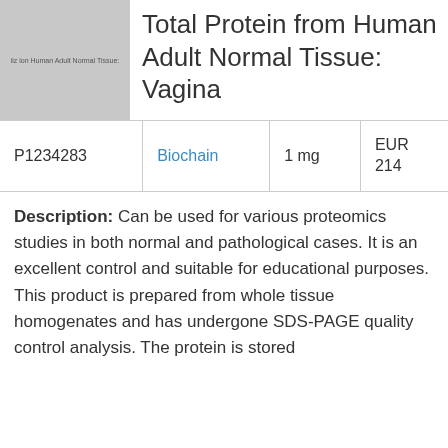[Figure (photo): Product image placeholder for Total Protein from Human Adult Normal Tissue: Vagina with label text overlay]
Total Protein from Human Adult Normal Tissue: Vagina
|  |  |  |  |
| --- | --- | --- | --- |
| P1234283 | Biochain | 1 mg | EUR 214 |
Description: Can be used for various proteomics studies in both normal and pathological cases. It is an excellent control and suitable for educational purposes. This product is prepared from whole tissue homogenates and has undergone SDS-PAGE quality control analysis. The protein is stored